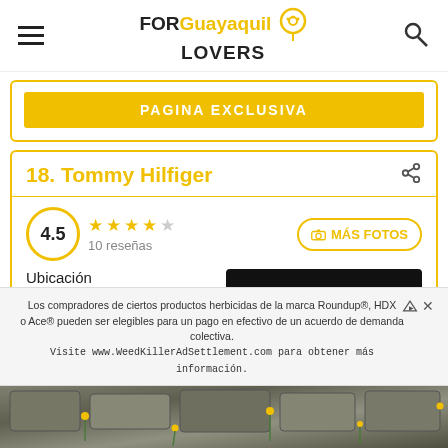FOR Guayaquil LOVERS
PAGINA EXCLUSIVA
18. Tommy Hilfiger
4.5 — 10 reseñas
MÁS FOTOS
Ubicación
5
cios
[Figure (photo): Black rectangular photo placeholder]
Los compradores de ciertos productos herbicidas de la marca Roundup®, HDX o Ace® pueden ser elegibles para un pago en efectivo de un acuerdo de demanda colectiva. Visite www.WeedKillerAdSettlement.com para obtener más información.
[Figure (photo): Ground-level photo of stone pavers with yellow wildflowers growing between them]